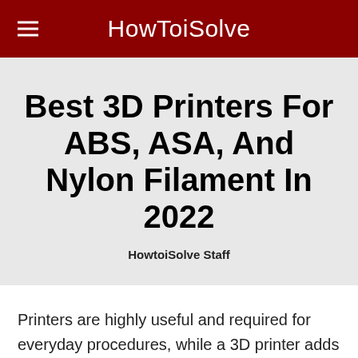HowToiSolve
Best 3D Printers For ABS, ASA, And Nylon Filament In 2022
HowtoiSolve Staff
Printers are highly useful and required for everyday procedures, while a 3D printer adds to the usefulness (good to make shoe designs,